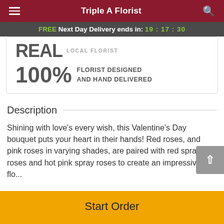Triple A Florist
FREE Next Day Delivery ends in: 19:17:30
[Figure (other): Florist badge with logo text 'REAL LOCAL FLORIST' and badge text '100% FLORIST DESIGNED AND HAND DELIVERED']
Description
Shining with love's every wish, this Valentine's Day bouquet puts your heart in their hands! Red roses, and pink roses in varying shades, are paired with red spray roses and hot pink spray roses to create an impressive flo...
Start Order